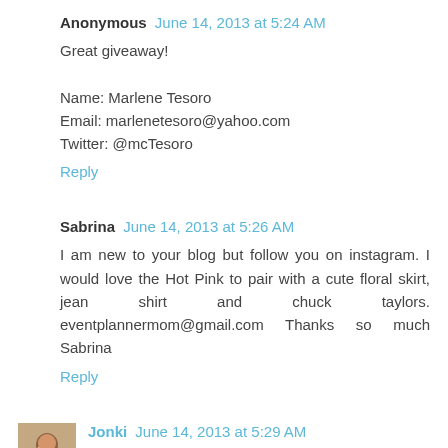Anonymous  June 14, 2013 at 5:24 AM
Great giveaway!

Name: Marlene Tesoro
Email: marlenetesoro@yahoo.com
Twitter: @mcTesoro
Reply
Sabrina  June 14, 2013 at 5:26 AM
I am new to your blog but follow you on instagram. I would love the Hot Pink to pair with a cute floral skirt, jean shirt and chuck taylors. eventplannermom@gmail.com Thanks so much Sabrina
Reply
Jonki  June 14, 2013 at 5:29 AM
My favourite is the yellow one
hoxha.jona@gmail.com